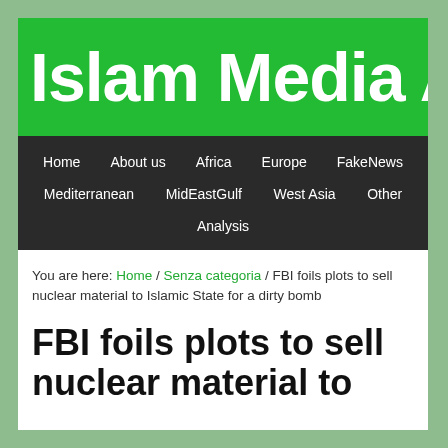[Figure (logo): Islam Media Analysis website logo — green banner with white bold text reading 'Islam Media An' (truncated)]
Home | About us | Africa | Europe | FakeNews | Mediterranean | MidEastGulf | West Asia | Other | Analysis
You are here: Home / Senza categoria / FBI foils plots to sell nuclear material to Islamic State for a dirty bomb
FBI foils plots to sell nuclear material to